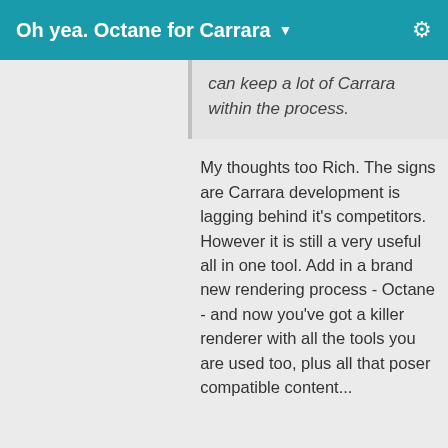Oh yea. Octane for Carrara ▼
can keep a lot of Carrara within the process.
My thoughts too Rich. The signs are Carrara development is lagging behind it's competitors. However it is still a very useful all in one tool. Add in a brand new rendering process - Octane - and now you've got a killer renderer with all the tools you are used too, plus all that poser compatible content...